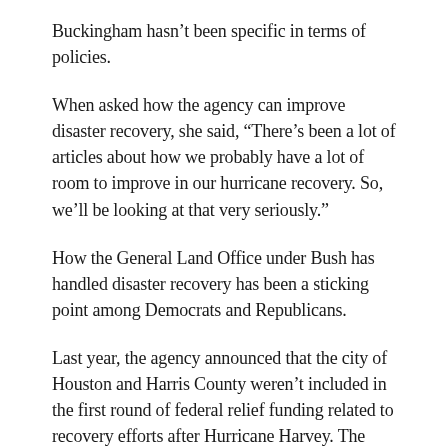Buckingham hasn't been specific in terms of policies.
When asked how the agency can improve disaster recovery, she said, “There’s been a lot of articles about how we probably have a lot of room to improve in our hurricane recovery. So, we’ll be looking at that very seriously.”
How the General Land Office under Bush has handled disaster recovery has been a sticking point among Democrats and Republicans.
Last year, the agency announced that the city of Houston and Harris County weren’t included in the first round of federal relief funding related to recovery efforts after Hurricane Harvey. The agency backtracked its decision afterward.